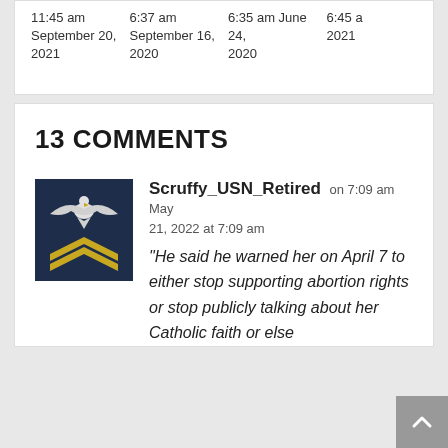11:45 am September 20, 2021 | 6:37 am September 16, 2020 | 6:35 am June 24, 2020 | 6:45 am 2021
13 COMMENTS
[Figure (photo): Profile photo of a US Navy petty officer rank insignia — an eagle over gold chevrons on a dark navy uniform background]
Scruffy_USN_Retired on 7:09 am May 21, 2022 at 7:09 am
“He said he warned her on April 7 to either stop supporting abortion rights or stop publicly talking about her Catholic faith or else